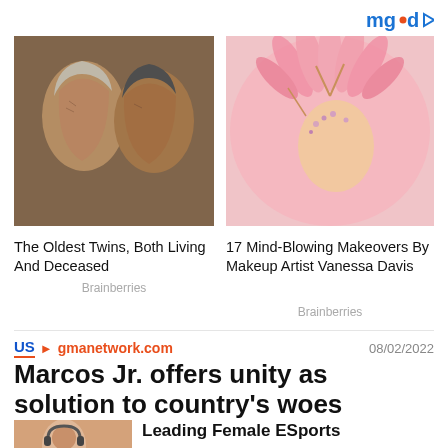[Figure (logo): mgid logo with play button icon in top right corner]
[Figure (photo): Two elderly people touching foreheads, close-up portrait, warm tones]
The Oldest Twins, Both Living And Deceased
Brainberries
[Figure (photo): Person wearing elaborate pink feathered headdress with jewel decorations, fantasy makeup]
17 Mind-Blowing Makeovers By Makeup Artist Vanessa Davis
Brainberries
US > gmanetwork.com   08/02/2022
Marcos Jr. offers unity as solution to country's woes
[Figure (photo): Woman with headphones, partial view, bottom of page]
Leading Female ESports